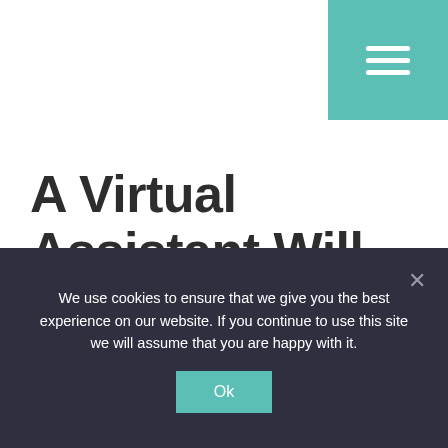[Figure (other): Teal/green hamburger menu button in the top-right corner with three white horizontal lines]
A Virtual Assistant Will
We use cookies to ensure that we give you the best experience on our website. If you continue to use this site we will assume that you are happy with it.
Ok